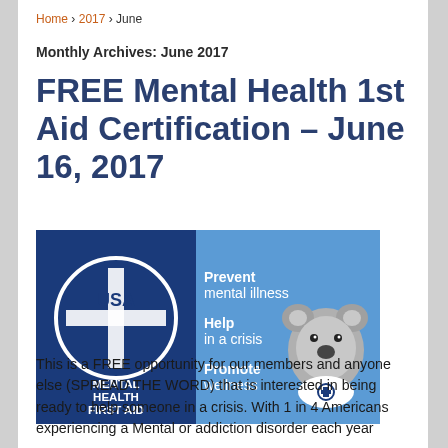Home › 2017 › June
Monthly Archives: June 2017
FREE Mental Health 1st Aid Certification – June 16, 2017
[Figure (illustration): Mental Health First Aid USA banner: dark blue background with white cross in circle and 'MENTAL HEALTH FIRST AID' text on left; lighter blue right panel showing 'Prevent mental illness', 'Help in a crisis', 'Promote wellness' text alongside a koala stuffed animal wearing a white shirt]
This is a FREE opportunity for our members and anyone else (SPREAD THE WORD) that is interested in being ready to help someone in a crisis. With 1 in 4 Americans experiencing a Mental or addiction disorder each year